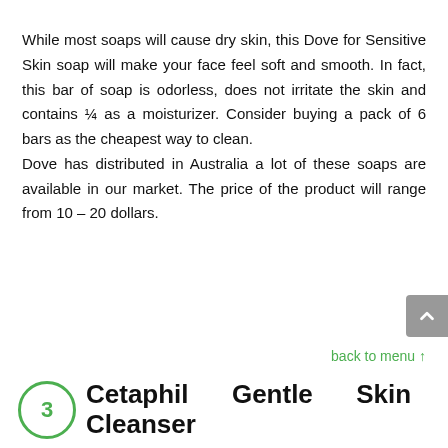While most soaps will cause dry skin, this Dove for Sensitive Skin soap will make your face feel soft and smooth. In fact, this bar of soap is odorless, does not irritate the skin and contains ¼ as a moisturizer. Consider buying a pack of 6 bars as the cheapest way to clean.
Dove has distributed in Australia a lot of these soaps are available in our market. The price of the product will range from 10 – 20 dollars.
back to menu ↑
3 Cetaphil Gentle Skin Cleanser